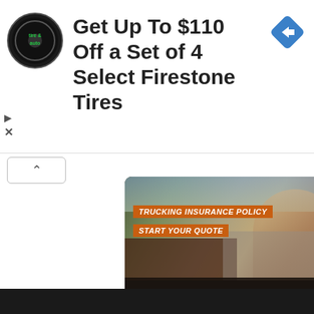[Figure (screenshot): Advertisement banner: Firestone tire & auto logo (circular black badge), text 'Get Up To $110 Off a Set of 4 Select Firestone Tires', blue diamond navigation arrow icon top right, play and close icons bottom left.]
Get Up To $110 Off a Set of 4 Select Firestone Tires
[Figure (screenshot): Trucking insurance advertisement card showing a smiling man in a cap and plaid shirt standing in front of trucks. Orange badge text 'TRUCKING INSURANCE POLICY', orange badge text 'START YOUR QUOTE', dark bottom bar with 'Get Quote' and chevron arrow.]